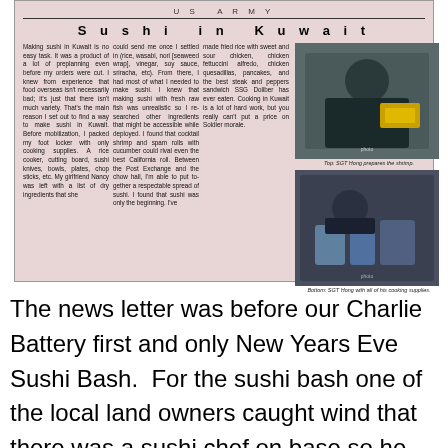US ARMY
Sushi in Kuwait
Making sushi in Kuwait is no easy task. It was a product of a lot of preplanning even before my orders were cut. I knew from experience that food overseas isn't necessarily bad; it's just that there isn't much variety. That's the main reason I set out to find a way to make sushi in Kuwait. Before mobilization, I packed my foot locker with only cooking supplies. A rice cooker, cutting board, sushi knives, bowls, plates, chop sticks, etc. My girlfriend Nancy was left with a list of dry ingredients that she could send me once I settled in (rice, wasabi, nori [seaweed wrap], vinegar, soy sauce, sriracha, etc). From there, I had most of what I needed to make sushi. I knew that making sushi with fresh raw fish was unrealistic so I researched other ingredients that might be accessible while deployed. I found that cocktail shrimp and spam rolls with cucumber could rival even the best California roll. Between the Post Exchange and the chow hall, I'm able to put together a respectable spread of sushi. I found that sushi was only the beginning. I've made fried rice with sweet and sour chicken, chicken fettuccini alfredo, chicken quesadillas, pancakes, and the best steak and peppers sandwich SSG Doliber has ever eaten. Cooking in Kuwait is a lot of hard work, but you really can't put a price on Soldier morale.
Top: SGT Hong prepares the shrimp.
Bottom: SGT Hong with all of his cooking supplies.
[Figure (photo): SGT Hong preparing shrimp, top photo]
[Figure (photo): SGT Hong with cooking supplies, bottom photo]
The news letter was before our Charlie Battery first and only New Years Eve Sushi Bash.  For the sushi bash one of the local land owners caught wind that there was a sushi chef on base so he finally found me and asked if he could supply the ingredients, could I make sushi for him.  Of course i jumped at the